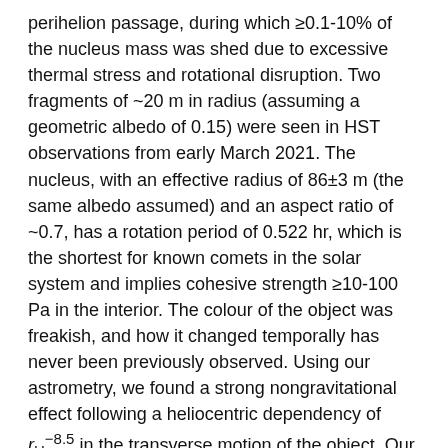perihelion passage, during which ≥0.1-10% of the nucleus mass was shed due to excessive thermal stress and rotational disruption. Two fragments of ~20 m in radius (assuming a geometric albedo of 0.15) were seen in HST observations from early March 2021. The nucleus, with an effective radius of 86±3 m (the same albedo assumed) and an aspect ratio of ~0.7, has a rotation period of 0.522 hr, which is the shortest for known comets in the solar system and implies cohesive strength ≥10-100 Pa in the interior. The colour of the object was freakish, and how it changed temporally has never been previously observed. Using our astrometry, we found a strong nongravitational effect following a heliocentric dependency of r_H^{-8.5} in the transverse motion of the object. Our N-body integration reveals that 323P has a likelihood of 99.7% to collide with the Sun in the next two millennia driven by the v6 secular resonance.
The Astronomical Journal (In press)